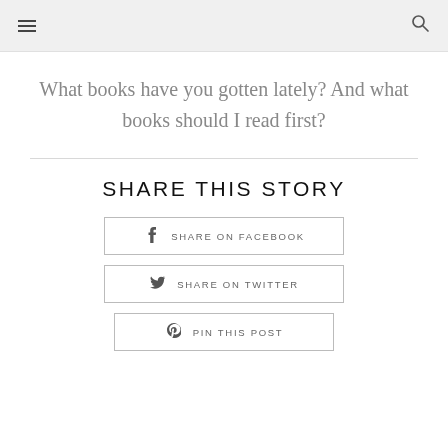☰ 🔍
What books have you gotten lately? And what books should I read first?
SHARE THIS STORY
SHARE ON FACEBOOK
SHARE ON TWITTER
PIN THIS POST